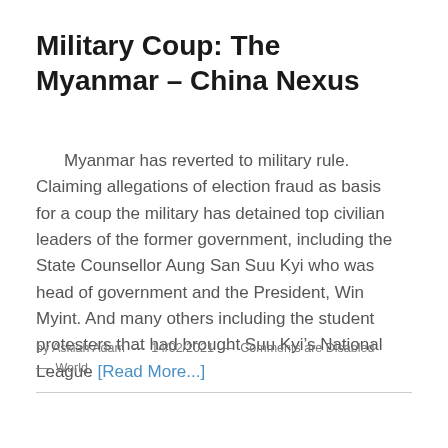Military Coup: The Myanmar – China Nexus
Myanmar has reverted to military rule. Claiming allegations of election fraud as basis for a coup the military has detained top civilian leaders of the former government, including the State Counsellor Aung San Suu Kyi who was head of government and the President, Win Myint. And many others including the student protesters that had brought Suu Kyi's National League [Read More...]
by Askiah Adam — 14/02/2021 — Comments are Disabled — World